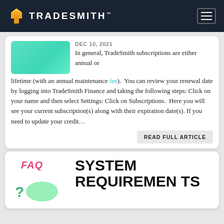TradeSmith
DEC 10, 2021
In general, TradeSmith subscriptions are either annual or lifetime (with an annual maintenance fee). You can review your renewal date by logging into TradeSmith Finance and taking the following steps: Click on your name and then select Settings: Click on Subscriptions. Here you will see your current subscription(s) along with their expiration date(s). If you need to update your credit...
READ FULL ARTICLE
SYSTEM REQUIREMENTS